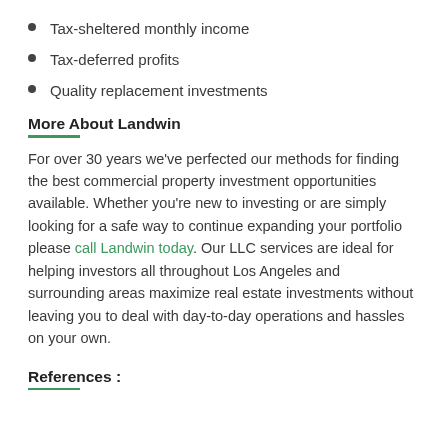Tax-sheltered monthly income
Tax-deferred profits
Quality replacement investments
More About Landwin
For over 30 years we've perfected our methods for finding the best commercial property investment opportunities available. Whether you're new to investing or are simply looking for a safe way to continue expanding your portfolio please call Landwin today. Our LLC services are ideal for helping investors all throughout Los Angeles and surrounding areas maximize real estate investments without leaving you to deal with day-to-day operations and hassles on your own.
References :